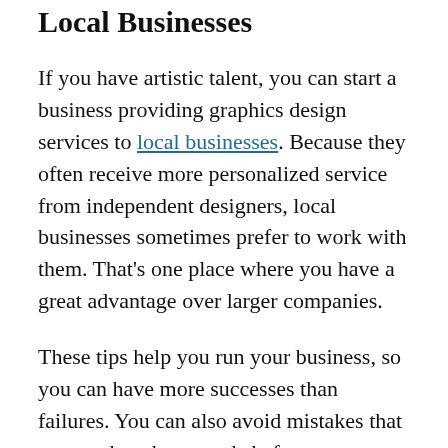Local Businesses
If you have artistic talent, you can start a business providing graphics design services to local businesses. Because they often receive more personalized service from independent designers, local businesses sometimes prefer to work with them. That’s one place where you have a great advantage over larger companies.
These tips help you run your business, so you can have more successes than failures. You can also avoid mistakes that many others have made before you arrived. You will then have the power to dedicate more resources to growth.
The information on your site should always be